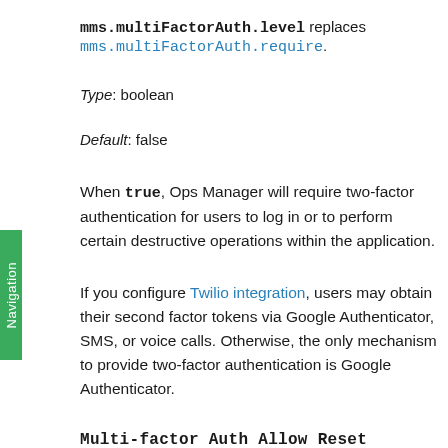mms.multiFactorAuth.level replaces mms.multiFactorAuth.require.
Type: boolean
Default: false
When true, Ops Manager will require two-factor authentication for users to log in or to perform certain destructive operations within the application.
If you configure Twilio integration, users may obtain their second factor tokens via Google Authenticator, SMS, or voice calls. Otherwise, the only mechanism to provide two-factor authentication is Google Authenticator.
Multi-factor Auth Allow Reset